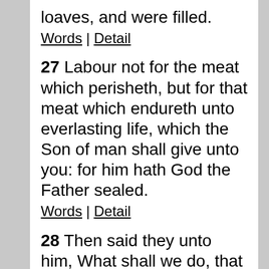loaves, and were filled.
Words | Detail
27  Labour not for the meat which perisheth, but for that meat which endureth unto everlasting life, which the Son of man shall give unto you: for him hath God the Father sealed.
Words | Detail
28  Then said they unto him, What shall we do, that we might work the works of God?
Words | Detail
29  Jesus answered and said unto them, This is the work of